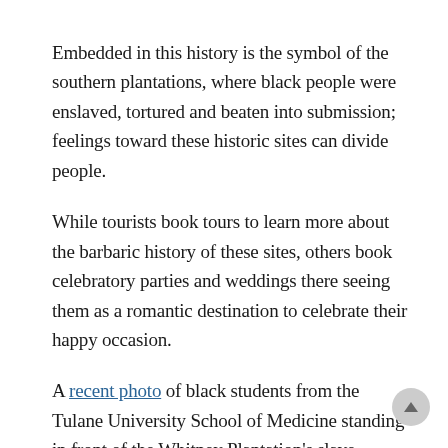Embedded in this history is the symbol of the southern plantations, where black people were enslaved, tortured and beaten into submission; feelings toward these historic sites can divide people.
While tourists book tours to learn more about the barbaric history of these sites, others book celebratory parties and weddings there seeing them as a romantic destination to celebrate their happy occasion.
A recent photo of black students from the Tulane University School of Medicine standing in front of the Whitney Plantation's slave quarters with the words: " We are truly our ancestors' wildest dreams," has gone viral, prompting over 80,000 responses to this powerful image.